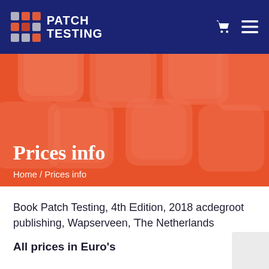PATCH TESTING
[Figure (screenshot): Hero banner with orange background showing patch test strips and 'Prices info' heading with breadcrumb 'Home / Prices info']
Prices info
Home / Prices info
Book Patch Testing, 4th Edition, 2018 acdegroot publishing, Wapserveen, The Netherlands
All prices in Euro's